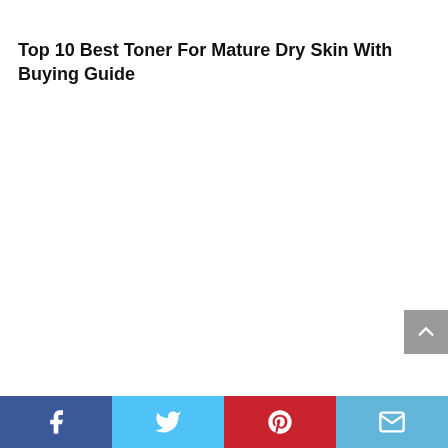Top 10 Best Toner For Mature Dry Skin With Buying Guide
Social share bar with Facebook, Twitter, Pinterest, and Email icons